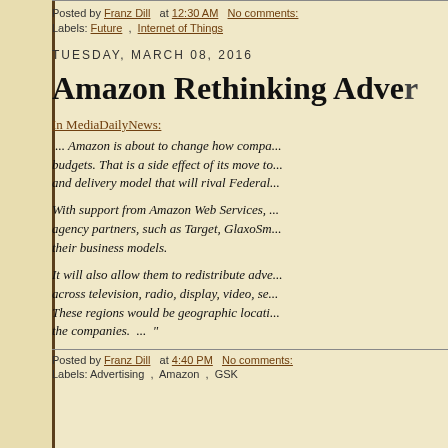Posted by Franz Dill at 12:30 AM No comments:
Labels: Future , Internet of Things
TUESDAY, MARCH 08, 2016
Amazon Rethinking Adve...
In MediaDailyNews:
... Amazon is about to change how compa... budgets. That is a side effect of its move to... and delivery model that will rival Federal...
With support from Amazon Web Services, ... agency partners, such as Target, GlaxoSm... their business models.
It will also allow them to redistribute adve... across television, radio, display, video, se... These regions would be geographic locati... the companies. ... "
Posted by Franz Dill at 4:40 PM No comments:
Labels: Advertising , Amazon , GSK